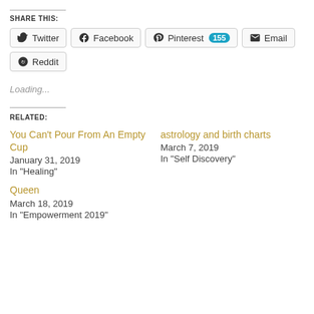SHARE THIS:
[Figure (other): Social share buttons: Twitter, Facebook, Pinterest (155), Email, Reddit]
Loading...
RELATED:
You Can't Pour From An Empty Cup
January 31, 2019
In "Healing"
astrology and birth charts
March 7, 2019
In "Self Discovery"
Queen
March 18, 2019
In "Empowerment 2019"